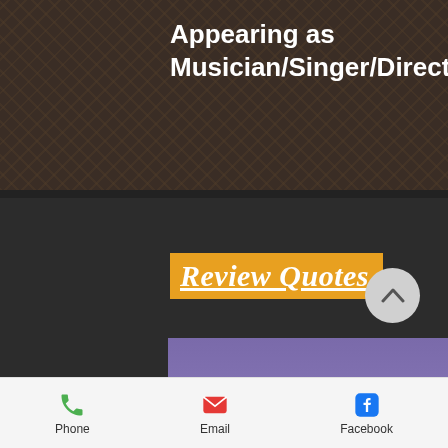Appearing as Musician/Singer/Director/Writer/Host
[Figure (other): Orange banner with text 'Review Quotes' in white bold italic serif font, underlined, on an orange/gold background]
[Figure (photo): Stage performance photo: a performer in colorful costume playing guitar on a stage with a city skyline backdrop in blue/purple lighting]
Phone   Email   Facebook